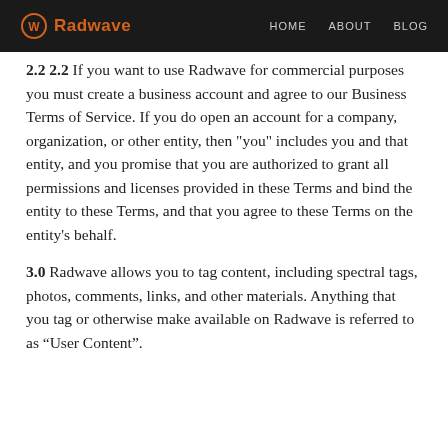Radwave — HOME  ABOUT  BLOG
2.2 If you want to use Radwave for commercial purposes you must create a business account and agree to our Business Terms of Service. If you do open an account for a company, organization, or other entity, then "you" includes you and that entity, and you promise that you are authorized to grant all permissions and licenses provided in these Terms and bind the entity to these Terms, and that you agree to these Terms on the entity's behalf.
3.0 Radwave allows you to tag content, including spectral tags, photos, comments, links, and other materials. Anything that you tag or otherwise make available on Radwave is referred to as “User Content”.